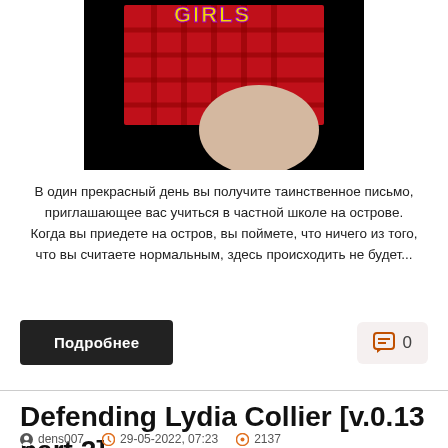[Figure (photo): Dark background image with red plaid skirt and partial figure, with yellow 'GIRLS' text at top]
В один прекрасный день вы получите таинственное письмо, приглашающее вас учиться в частной школе на острове. Когда вы приедете на остров, вы поймете, что ничего из того, что вы считаете нормальным, здесь происходить не будет...
Подробнее
0
Defending Lydia Collier [v.0.13 part 2]
dens007   29-05-2022, 07:23   2137